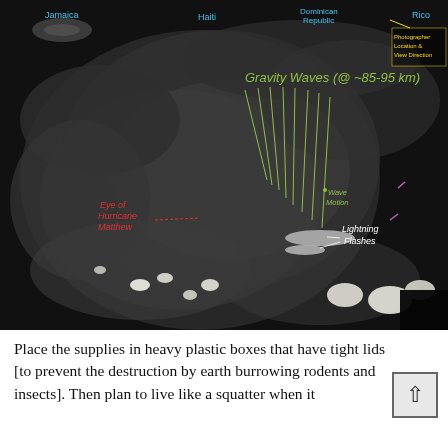[Figure (photo): Nighttime satellite image of a hurricane (Hurricane Matthew) over the Caribbean, showing gravity waves annotated at ~85-95 km altitude with green lines radiating from a central point, labeled island geography (Jamaica, Haiti, Dominican Republic, Rico/Puerto Rico) in cyan, red label for Eye of Hurricane Matthew, yellow annotation for Photographer Location & View Direction, green label for Wave Motion, and white annotations for Lightning Flashes.]
Place the supplies in heavy plastic boxes that have tight lids [to prevent the destruction by earth burrowing rodents and insects]. Then plan to live like a squatter when it